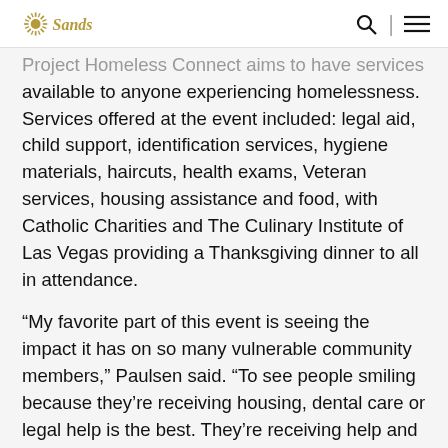Sands
Project Homeless Connect aims to have services available to anyone experiencing homelessness. Services offered at the event included: legal aid, child support, identification services, hygiene materials, haircuts, health exams, Veteran services, housing assistance and food, with Catholic Charities and The Culinary Institute of Las Vegas providing a Thanksgiving dinner to all in attendance.
“My favorite part of this event is seeing the impact it has on so many vulnerable community members,” Paulsen said. “To see people smiling because they’re receiving housing, dental care or legal help is the best. They’re receiving help and hope. It is incredible to witness so many agency partners and volunteers giving and caring for our guests.”